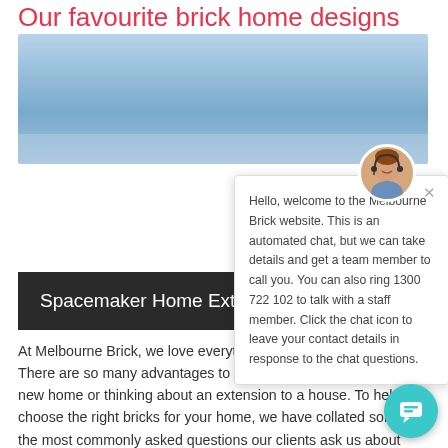Our favourite brick home designs
[Figure (photo): Hero image showing a light blue sky, partial view of a brick home exterior]
[Figure (screenshot): Chat popup widget with avatar of a woman with headset. Text: Hello, welcome to the Melbourne Brick website. This is an automated chat, but we can take details and get a team member to call you. You can also ring 1300 722 102 to talk with a staff member. Click the chat icon to leave your contact details in response to the chat questions.]
Spacemaker Home Ext...
At Melbourne Brick, we love everything about building with bricks. There are so many advantages to using brick when planning a new home or thinking about an extension to a house. To help you choose the right bricks for your home, we have collated some of the most commonly asked questions our clients ask us about brick